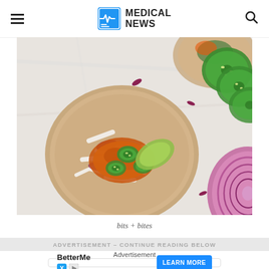MEDICAL NEWS
[Figure (photo): Overhead view of a fish taco on a whole wheat tortilla with cabbage, jalapeño slices, avocado, and spiced fish, surrounded by ingredients including avocado half, red onion, and jalapeño slices on a marble surface.]
bits + bites
ADVERTISEMENT – CONTINUE READING BELOW
Advertisement
BetterMe
LEARN MORE